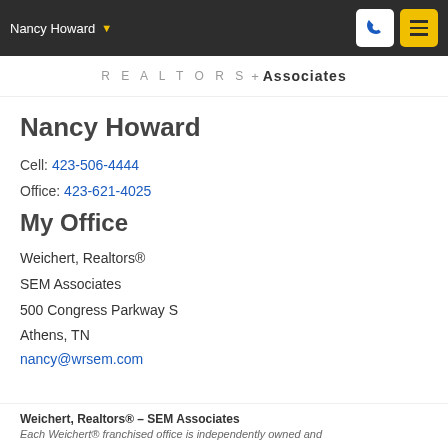Nancy Howard
Nancy Howard
Cell: 423-506-4444
Office: 423-621-4025
My Office
Weichert, Realtors®
SEM Associates
500 Congress Parkway S
Athens, TN
nancy@wrsem.com
Weichert, Realtors® – SEM Associates
Each Weichert® franchised office is independently owned and